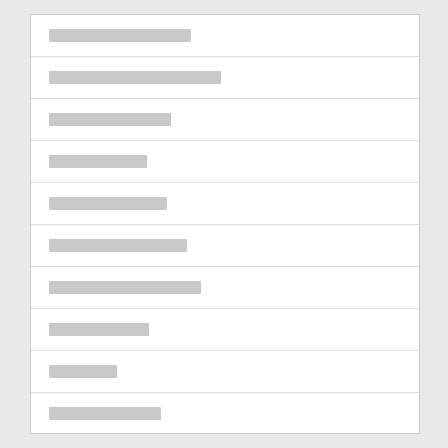[redacted row 1]
[redacted row 2]
[redacted row 3]
[redacted row 4]
[redacted row 5]
[redacted row 6]
[redacted row 7]
[redacted row 8]
[redacted row 9]
[redacted row 10]